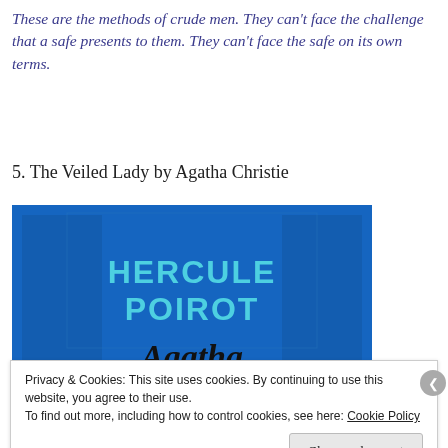These are the methods of crude men. They can't face the challenge that a safe presents to them. They can't face the safe on its own terms.
5. The Veiled Lady by Agatha Christie
[Figure (photo): Book cover for Hercule Poirot by Agatha Christie. Blue background with 'HERCULE POIROT' text in cyan and Agatha Christie's cursive signature in black.]
Privacy & Cookies: This site uses cookies. By continuing to use this website, you agree to their use. To find out more, including how to control cookies, see here: Cookie Policy
Close and accept